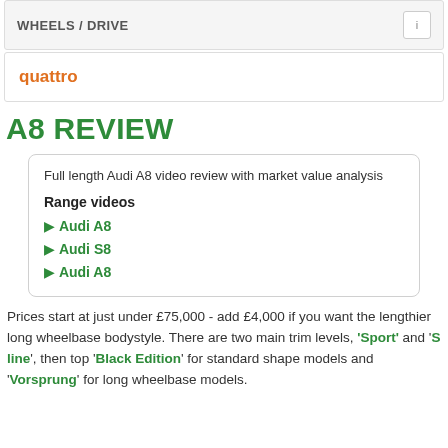WHEELS / DRIVE
quattro
A8 REVIEW
Full length Audi A8 video review with market value analysis
Range videos
▶ Audi A8
▶ Audi S8
▶ Audi A8
Prices start at just under £75,000 - add £4,000 if you want the lengthier long wheelbase bodystyle. There are two main trim levels, 'Sport' and 'S line', then top 'Black Edition' for standard shape models and 'Vorsprung' for long wheelbase models.